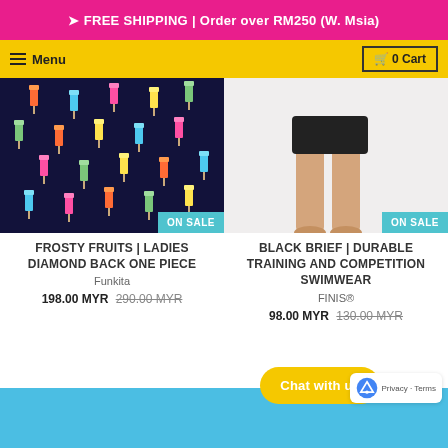➤ FREE SHIPPING | Order over RM250 (W. Msia)
☰ Menu   🛒 0 Cart
[Figure (photo): Product image of Frosty Fruits Ladies Diamond Back One Piece swimsuit on dark background with colorful popsicle patterns, with 'ON SALE' teal badge in bottom right corner]
FROSTY FRUITS | LADIES DIAMOND BACK ONE PIECE
Funkita
198.00 MYR  290.00 MYR
[Figure (photo): Product image of Black Brief Durable Training and Competition Swimwear on white/light background showing male model's lower body, with 'ON SALE' teal badge in bottom right corner]
BLACK BRIEF | DURABLE TRAINING AND COMPETITION SWIMWEAR
FINIS®
98.00 MYR  130.00 MYR
Chat with us
Privacy · Terms